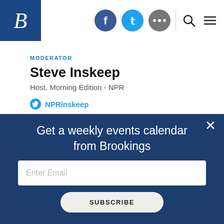Brookings Institution header with logo, social icons (Facebook, Twitter, More), search and menu controls
MODERATOR
Steve Inskeep
Host, Morning Edition - NPR
NPRinskeep
Norman Eisen
Senior Fellow - Governance Studies - The Brookings
Get a weekly events calendar from Brookings
Enter Email
SUBSCRIBE